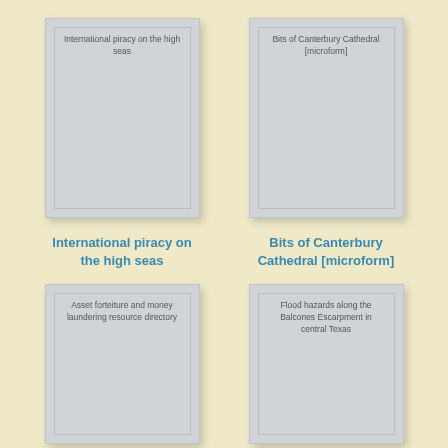[Figure (illustration): Book cover placeholder for 'International piracy on the high seas']
[Figure (illustration): Book cover placeholder for 'Bits of Canterbury Cathedral [microform]']
International piracy on the high seas
Bits of Canterbury Cathedral [microform]
[Figure (illustration): Book cover placeholder for 'Asset forteiture and money laundering resource directory']
[Figure (illustration): Book cover placeholder for 'Flood hazards along the Balcones Escarpment in central Texas']